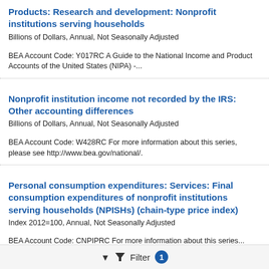Products: Research and development: Nonprofit institutions serving households
Billions of Dollars, Annual, Not Seasonally Adjusted
BEA Account Code: Y017RC A Guide to the National Income and Product Accounts of the United States (NIPA) -...
Nonprofit institution income not recorded by the IRS: Other accounting differences
Billions of Dollars, Annual, Not Seasonally Adjusted
BEA Account Code: W428RC For more information about this series, please see http://www.bea.gov/national/.
Personal consumption expenditures: Services: Final consumption expenditures of nonprofit institutions serving households (NPISHs) (chain-type price index)
Index 2012=100, Annual, Not Seasonally Adjusted
BEA Account Code: CNPIPRC For more information about this series...
Filter 1